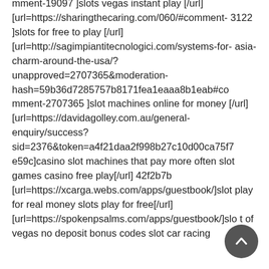mment-19097 ]slots vegas instant play [/url] [url=https://sharingthecaring.com/060/#comment-3122 ]slots for free to play [/url] [url=http://sagimpiantitecnologici.com/systems-for-asia-charm-around-the-usa/?unapproved=2707365&moderation-hash=59b36d7285757b8171fea1eaaa8b1eab#comment-2707365 ]slot machines online for money [/url] [url=https://davidagolley.com.au/general-enquiry/success?sid=2376&token=a4f21daa2f998b27c10d00ca75f7e59c]casino slot machines that pay more often slot games casino free play[/url] 42f2b7b [url=https://xcarga.webs.com/apps/guestbook/]slot play for real money slots play for free[/url] [url=https://spokenpsalms.com/apps/guestbook/]slot of vegas no deposit bonus codes slot car racing
[Figure (other): Back to top button - circular dark grey button with upward pointing chevron arrow]